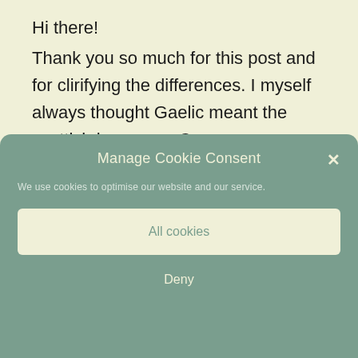Hi there!

Thank you so much for this post and for clirifying the differences. I myself always thought Gaelic meant the scottish language. Can you recommend a decent sight that for Scottish Gaelic? I want something translated from English to
Manage Cookie Consent
We use cookies to optimise our website and our service.
All cookies
Deny